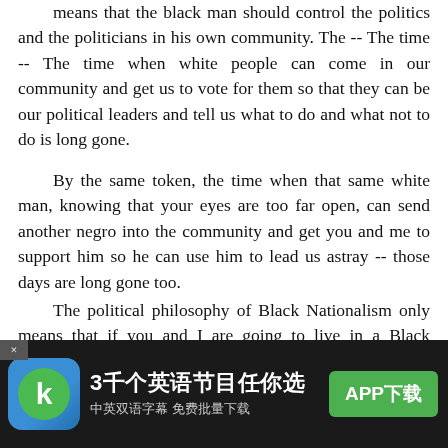means that the black man should control the politics and the politicians in his own community. The -- The time -- The time when white people can come in our community and get us to vote for them so that they can be our political leaders and tell us what to do and what not to do is long gone.
By the same token, the time when that same white man, knowing that your eyes are too far open, can send another negro into the community and get you and me to support him so he can use him to lead us astray -- those days are long gone too.
The political philosophy of Black Nationalism only means that if you and I are going to live in a Black community -- and that's where we're going to live, cause as soon as you move into one of their -- soon as you move out of the Black community into their community, it's mixed for a period of time, but they're gone and you're right there all by
[Figure (infographic): Mobile app advertisement banner. Shows a green 'K' logo icon on blue background, Chinese text '3千个英语节目任你选' (3000 English programs to choose from), subtitle '中英双语字幕 免费批量下载' (Chinese-English subtitles, free batch download), and a green 'APP下载' (APP Download) button. Dark background with close (×) button in top-left.]